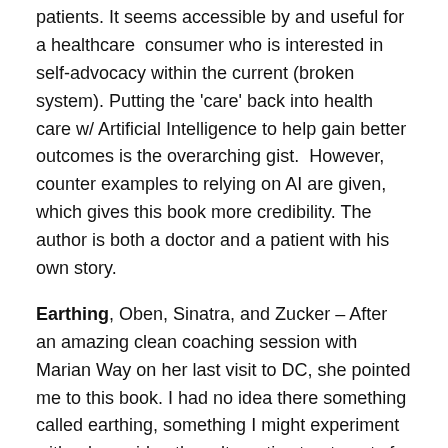patients. It seems accessible by and useful for a healthcare consumer who is interested in self-advocacy within the current (broken system). Putting the 'care' back into health care w/ Artificial Intelligence to help gain better outcomes is the overarching gist. However, counter examples to relying on AI are given, which gives this book more credibility. The author is both a doctor and a patient with his own story.
Earthing, Oben, Sinatra, and Zucker – After an amazing clean coaching session with Marian Way on her last visit to DC, she pointed me to this book. I had no idea there something called earthing, something I might experiment with, along side other alternative treatments for a chronic health issue.
Landscapes of the Heart, Juliet Grayson – What does it